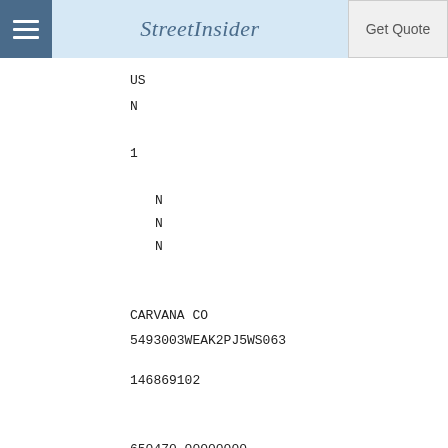StreetInsider | Get Quote
US
N
1
N
N
N
CARVANA CO
5493003WEAK2PJ5WS063
146869102
650470.00000000
NS
USD
77594566.30000000
2.808209847334
Long